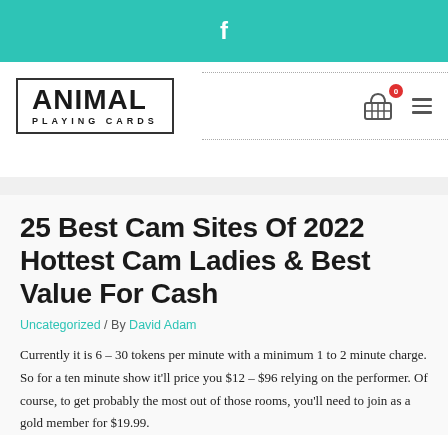f
[Figure (logo): Animal Playing Cards logo — bold text in a rectangular border]
[Figure (other): Shopping cart icon with red badge showing 0, and hamburger menu icon]
25 Best Cam Sites Of 2022 Hottest Cam Ladies & Best Value For Cash
Uncategorized / By David Adam
Currently it is 6 – 30 tokens per minute with a minimum 1 to 2 minute charge. So for a ten minute show it'll price you $12 – $96 relying on the performer. Of course, to get probably the most out of those rooms, you'll need to join as a gold member for $19.99.